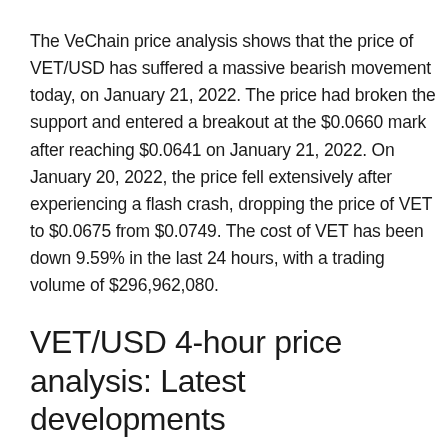The VeChain price analysis shows that the price of VET/USD has suffered a massive bearish movement today, on January 21, 2022. The price had broken the support and entered a breakout at the $0.0660 mark after reaching $0.0641 on January 21, 2022. On January 20, 2022, the price fell extensively after experiencing a flash crash, dropping the price of VET to $0.0675 from $0.0749. The cost of VET has been down 9.59% in the last 24 hours, with a trading volume of $296,962,080.
VET/USD 4-hour price analysis: Latest developments
The VeChain price analysis has revealed market volatility following a massive opening movement which means the cryptocurrency's price has become significantly